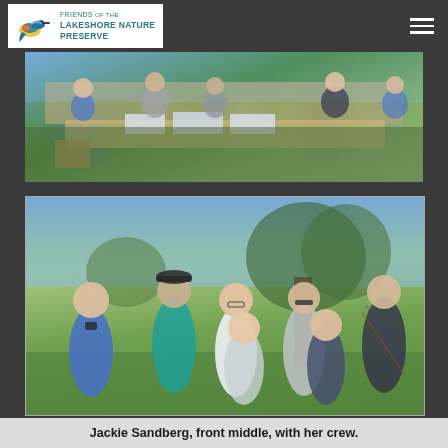Friends of the Lakeshore Nature Preserve
[Figure (photo): Group of people around an outdoor table examining items and papers, in a grassy field setting]
[Figure (photo): Group photo of seven people standing together outdoors on grass with trees in background — Jackie Sandberg front middle with her crew]
Jackie Sandberg, front middle, with her crew.